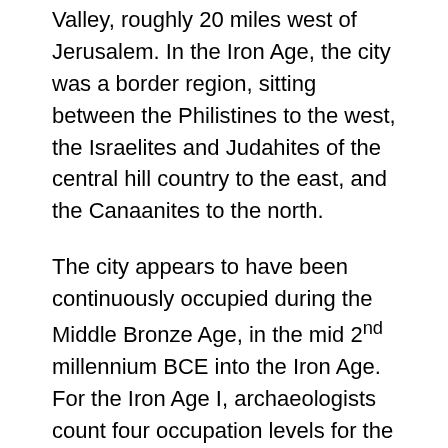Valley, roughly 20 miles west of Jerusalem. In the Iron Age, the city was a border region, sitting between the Philistines to the west, the Israelites and Judahites of the central hill country to the east, and the Canaanites to the north.
The city appears to have been continuously occupied during the Middle Bronze Age, in the mid 2nd millennium BCE into the Iron Age. For the Iron Age I, archaeologists count four occupation levels for the town, but these levels demonstrat continuity in habitation over time. These four occupation layers were followed by a layer that represents Iron Age IIA.
The Iron Age I cities appear to have maintained cultural continuity with the preceding periods